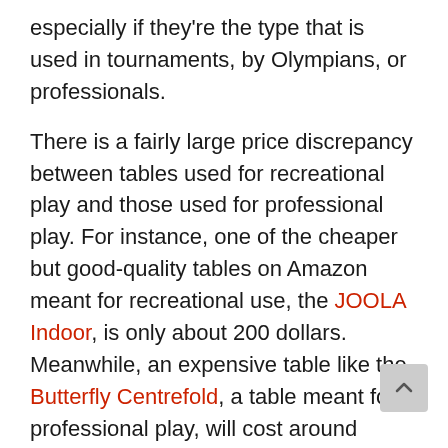especially if they're the type that is used in tournaments, by Olympians, or professionals.
There is a fairly large price discrepancy between tables used for recreational play and those used for professional play. For instance, one of the cheaper but good-quality tables on Amazon meant for recreational use, the JOOLA Indoor, is only about 200 dollars. Meanwhile, an expensive table like the Butterfly Centrefold, a table meant for professional play, will cost around 2,000 dollars. Granted, the Centrefold is a top-of-the-line table and should only be considered by professionals and serious players.